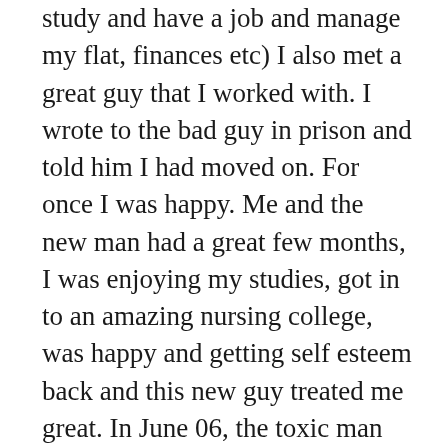study and have a job and manage my flat, finances etc) I also met a great guy that I worked with. I wrote to the bad guy in prison and told him I had moved on. For once I was happy. Me and the new man had a great few months, I was enjoying my studies, got in to an amazing nursing college, was happy and getting self esteem back and this new guy treated me great. In June 06, the toxic man was released from prison (I had ignored his calls and letter) he knew I was in a relationship. Yet, still turned up at my home un invited. He could see I was going places, was happy and had moved on. He was trying every trick in the book to win me back but I told him I was with someone and happy. He didnt listen. In Sept 06 he came to my home and violently raped me. I